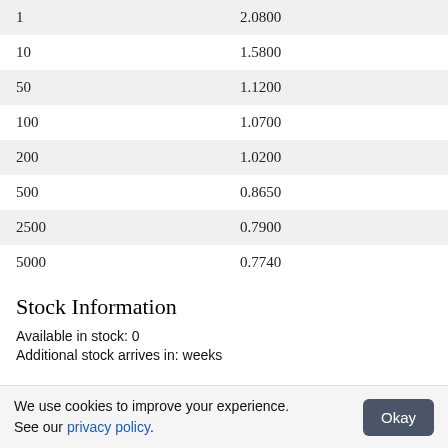| 1 | 2.0800 |
| 10 | 1.5800 |
| 50 | 1.1200 |
| 100 | 1.0700 |
| 200 | 1.0200 |
| 500 | 0.8650 |
| 2500 | 0.7900 |
| 5000 | 0.7740 |
Stock Information
Available in stock: 0
Additional stock arrives in: weeks
We use cookies to improve your experience. See our privacy policy.